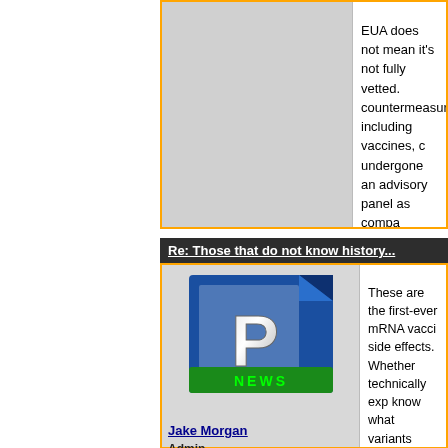EUA does not mean it's not fully vetted. countermeasures, including vaccines, c undergone an advisory panel as compa You are correct that pregnant women h treatments available today for any numb X. A meaning its been well tested and s Currently, there is not enough data to s general recommendations are that heal as the MOA is different and there have
Re: Those that do not know history...
[Figure (logo): Blue document icon with stylized P letter and green NEWS banner - Jake Morgan admin logo]
Jake Morgan - Admin - Registered: 03/25/2008 - Posts: 2,336
These are the first-ever mRNA vacci side effects. Whether technically exp know what variants these will cover, complications grow at an alarming ra we've had 1755 vaccine related deat number are still small but the risks re The vaccine may very well prove to b however at my age the risk of death get one of the vaccinations and we n right now. I see no need for the government to bigger role in our lives and it won't e sector doesn't do better than the gov